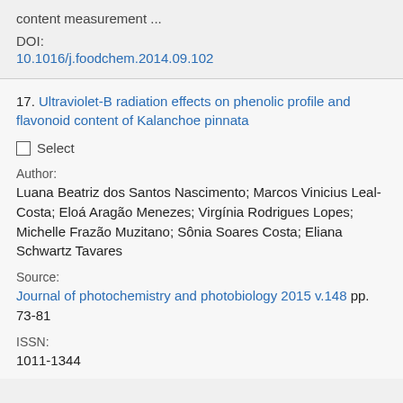content measurement ...
DOI:
10.1016/j.foodchem.2014.09.102
17. Ultraviolet-B radiation effects on phenolic profile and flavonoid content of Kalanchoe pinnata
Select
Author:
Luana Beatriz dos Santos Nascimento; Marcos Vinicius Leal-Costa; Eloá Aragão Menezes; Virgínia Rodrigues Lopes; Michelle Frazão Muzitano; Sônia Soares Costa; Eliana Schwartz Tavares
Source:
Journal of photochemistry and photobiology 2015 v.148 pp. 73-81
ISSN:
1011-1344